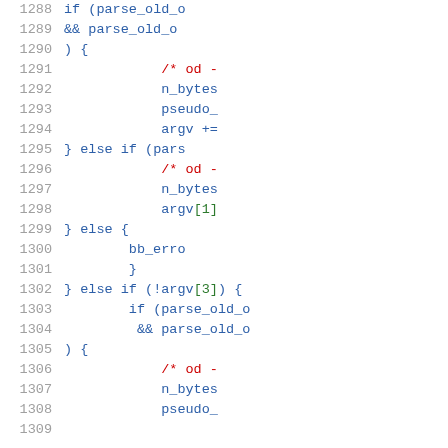[Figure (screenshot): Source code listing showing C code with syntax highlighting, line numbers 1288-1308, containing if/else if/else conditional blocks with parse_old_o function calls, n_bytes, pseudo_, argv assignments, and bb_erro call.]